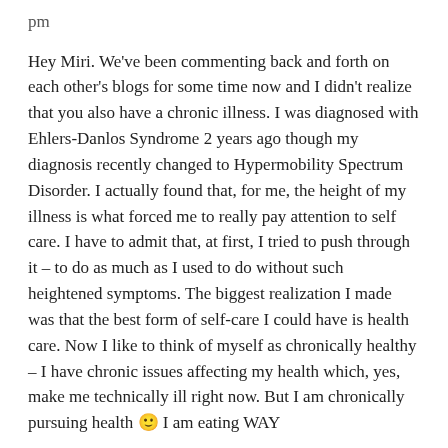pm
Hey Miri. We've been commenting back and forth on each other's blogs for some time now and I didn't realize that you also have a chronic illness. I was diagnosed with Ehlers-Danlos Syndrome 2 years ago though my diagnosis recently changed to Hypermobility Spectrum Disorder. I actually found that, for me, the height of my illness is what forced me to really pay attention to self care. I have to admit that, at first, I tried to push through it – to do as much as I used to do without such heightened symptoms. The biggest realization I made was that the best form of self-care I could have is health care. Now I like to think of myself as chronically healthy – I have chronic issues affecting my health which, yes, make me technically ill right now. But I am chronically pursuing health 🙂 I am eating WAY